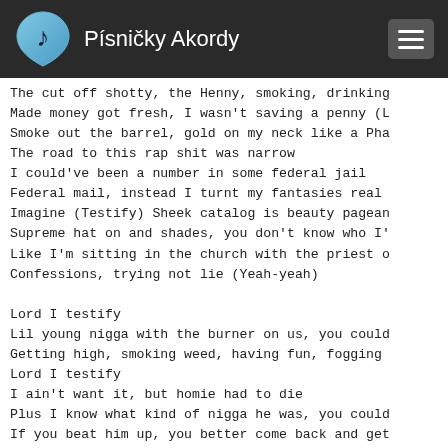Písničky Akordy
The cut off shotty, the Henny, smoking, drinking
Made money got fresh, I wasn't saving a penny (L
Smoke out the barrel, gold on my neck like a Pha
The road to this rap shit was narrow
I could've been a number in some federal jail
Federal mail, instead I turnt my fantasies real
Imagine (Testify) Sheek catalog is beauty pagean
Supreme hat on and shades, you don't know who I'
Like I'm sitting in the church with the priest o
Confessions, trying not lie (Yeah-yeah)

Lord I testify
Lil young nigga with the burner on us, you could
Getting high, smoking weed, having fun, fogging
Lord I testify
I ain't want it, but homie had to die
Plus I know what kind of nigga he was, you could
If you beat him up, you better come back and get
I'm sorry Lord for my sins (Yeah)
They don't say much but pray for my friends (Yea